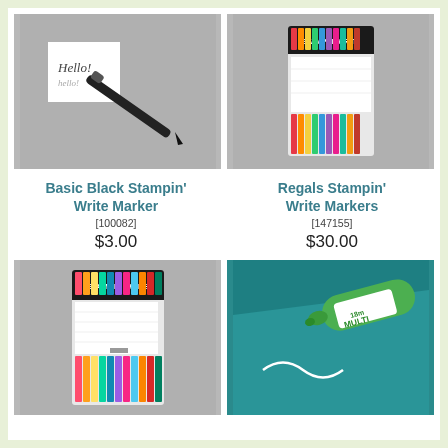[Figure (photo): Basic Black Stampin' Write Marker pen on gray background with a white card saying Hello!]
[Figure (photo): Regals Stampin' Write Markers set in packaging on gray background]
Basic Black Stampin' Write Marker [100082] $3.00
Regals Stampin' Write Markers [147155] $30.00
[Figure (photo): Stampin' Write markers set in colorful packaging on gray background]
[Figure (photo): Green multi marker on teal background with white squiggly line]